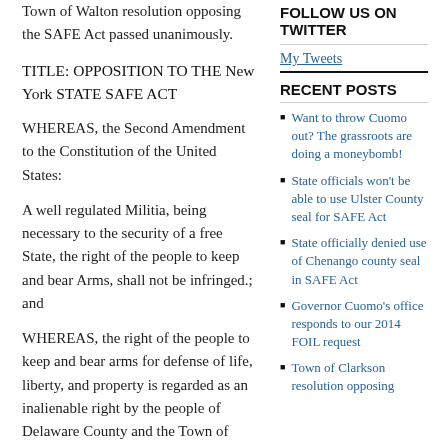Town of Walton resolution opposing the SAFE Act passed unanimously.
TITLE: OPPOSITION TO THE New York STATE SAFE ACT
WHEREAS, the Second Amendment to the Constitution of the United States:
A well regulated Militia, being necessary to the security of a free State, the right of the people to keep and bear Arms, shall not be infringed.; and
WHEREAS, the right of the people to keep and bear arms for defense of life, liberty, and property is regarded as an inalienable right by the people of Delaware County and the Town of Walton; and
FOLLOW US ON TWITTER
My Tweets
RECENT POSTS
Want to throw Cuomo out? The grassroots are doing a moneybomb!
State officials won't be able to use Ulster County seal for SAFE Act
State officially denied use of Chenango county seal in SAFE Act
Governor Cuomo's office responds to our 2014 FOIL request
Town of Clarkson resolution opposing